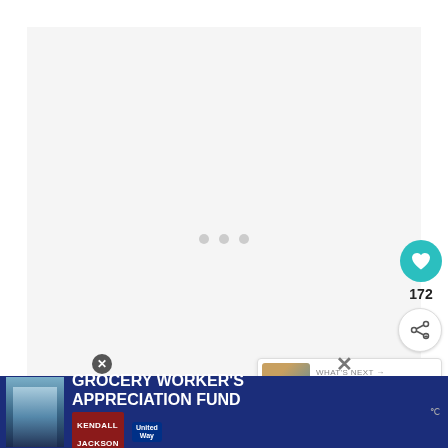[Figure (photo): Large image placeholder area with light gray background and three gray loading dots in the center, representing a photo slideshow or gallery loading state.]
172
WHAT'S NEXT → Chicago Bucktown F...
Even though it's fascinating for adults, if you are traveling with kids, the Dinosaur D...
[Figure (screenshot): Advertisement banner: GROCERY WORKER'S APPRECIATION FUND with Kendall Jackson and United Way logos]